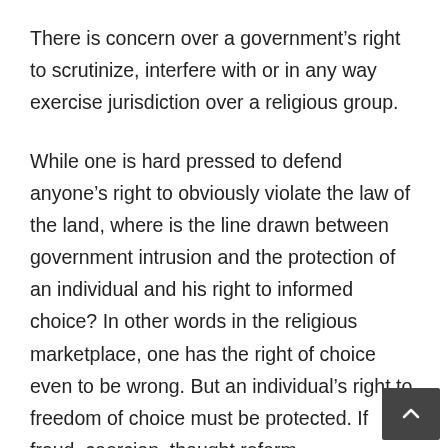There is concern over a government's right to scrutinize, interfere with or in any way exercise jurisdiction over a religious group.
While one is hard pressed to defend anyone's right to obviously violate the law of the land, where is the line drawn between government intrusion and the protection of an individual and his right to informed choice? In other words in the religious marketplace, one has the right of choice even to be wrong. But an individual's right to freedom of choice must be protected. If fraud, coercion, thought reform, manipulation, hidden agendas, etc. are methods used by cults to recruit and control members, then they should not be above